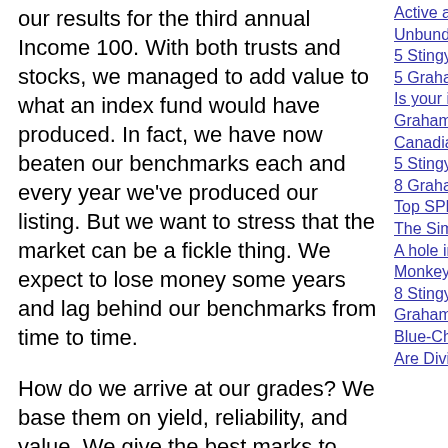our results for the third annual Income 100. With both trusts and stocks, we managed to add value to what an index fund would have produced. In fact, we have now beaten our benchmarks each and every year we've produced our listing. But we want to stress that the market can be a fickle thing. We expect to lose money some years and lag behind our benchmarks from time to time.
How do we arrive at our grades? We base them on yield, reliability, and value. We give the best marks to firms that trade at reasonable prices while providing healthy and stable yields. (We invite you to learn more about the many factors that go into our grades by reading last year's Income 100 article.)
Active at Passive Prices
Unbundling ETFs 2008
5 Stingy Stocks for 2008
5 Graham Stocks for 2008
Is your index too active?
Graham's Simple Way
Canadian Graham Stocks
5 Stingy Stocks for 2007
8 Graham Stocks for 2007
Top SPPs
The Simple Way
A hole in your IPO?
Monkey Business
8 Stingy Stocks for 2006
Graham Stock Gainers
Blue-Chip Blues
Are Dividends Safe?